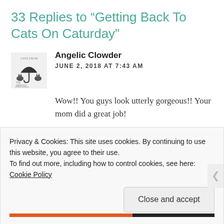33 Replies to “Getting Back To Cats On Caturday”
Angelic Clowder
JUNE 2, 2018 AT 7:43 AM
Wow!! You guys look utterly gorgeous!! Your mom did a great job!
★ Liked by 1 person
Privacy & Cookies: This site uses cookies. By continuing to use this website, you agree to their use.
To find out more, including how to control cookies, see here: Cookie Policy
Close and accept